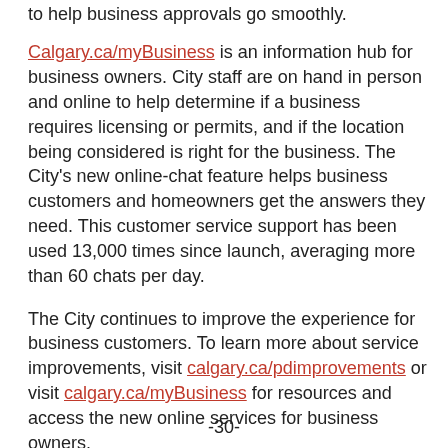to help business approvals go smoothly.
Calgary.ca/myBusiness is an information hub for business owners. City staff are on hand in person and online to help determine if a business requires licensing or permits, and if the location being considered is right for the business. The City’s new online-chat feature helps business customers and homeowners get the answers they need. This customer service support has been used 13,000 times since launch, averaging more than 60 chats per day.
The City continues to improve the experience for business customers. To learn more about service improvements, visit calgary.ca/pdimprovements or visit calgary.ca/myBusiness for resources and access the new online services for business owners.
-30-